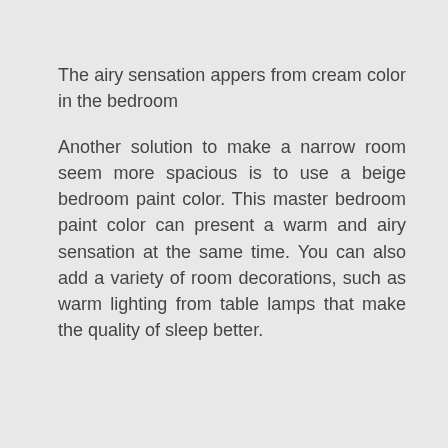The airy sensation appers from cream color in the bedroom
Another solution to make a narrow room seem more spacious is to use a beige bedroom paint color. This master bedroom paint color can present a warm and airy sensation at the same time. You can also add a variety of room decorations, such as warm lighting from table lamps that make the quality of sleep better.